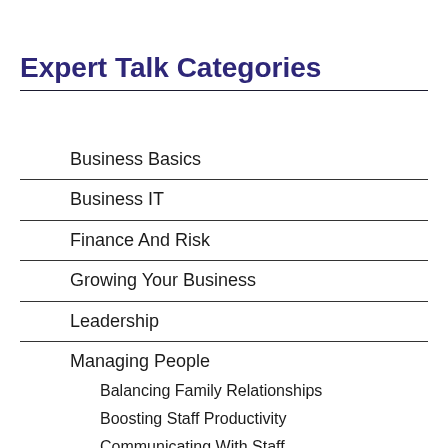Expert Talk Categories
Business Basics
Business IT
Finance And Risk
Growing Your Business
Leadership
Managing People
Balancing Family Relationships
Boosting Staff Productivity
Communicating With Staff